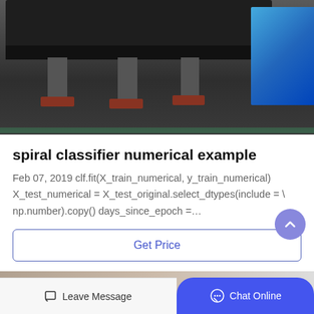[Figure (photo): Industrial machinery (likely a spiral classifier or similar equipment) with black metal body, legs with red feet, and blue panel on right, on a light floor]
spiral classifier numerical example
Feb 07, 2019 clf.fit(X_train_numerical, y_train_numerical) X_test_numerical = X_test_original.select_dtypes(include = \ np.number).copy() days_since_epoch =…
Get Price
[Figure (photo): Partial bottom image, appears to be a person or indoor scene]
Leave Message
Chat Online